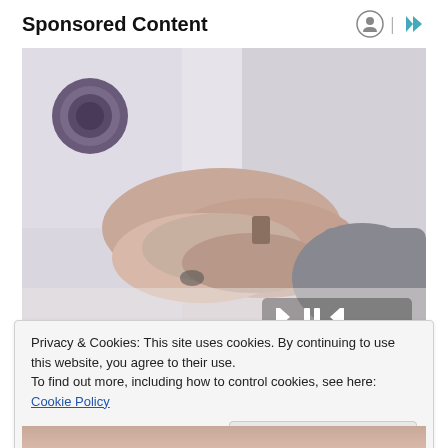Sponsored Content
[Figure (photo): A doctor in a white coat with a purple stethoscope gently holding a patient's hands across a desk. The patient is wearing a grey knit sweater. Playback controls (skip back, pause, skip forward) are overlaid at the bottom right of the image.]
Privacy & Cookies: This site uses cookies. By continuing to use this website, you agree to their use.
To find out more, including how to control cookies, see here: Cookie Policy
Close and accept